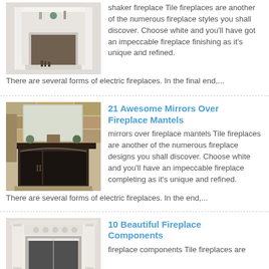[Figure (photo): White shaker style fireplace with mantel and hearth]
shaker fireplace Tile fireplaces are another of the numerous fireplace styles you shall discover. Choose white and you'll have got an impeccable fireplace finishing as it's unique and refined. There are several forms of electric fireplaces. In the final end,...
[Figure (photo): Stone fireplace with dark wood mantel and decorative mirror above]
21 Awesome Mirrors Over Fireplace Mantels
mirrors over fireplace mantels Tile fireplaces are another of the numerous fireplace designs you shall discover. Choose white and you'll have an impeccable fireplace completing as it's unique and refined. There are several forms of electric fireplaces. In the end,...
[Figure (photo): White classical style fireplace with ornate mantel surround]
10 Beautiful Fireplace Components
fireplace components Tile fireplaces are